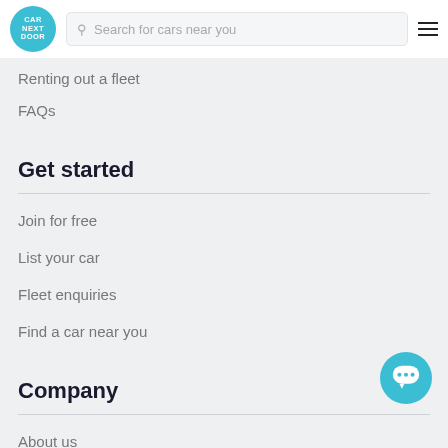Car Next Door — Search for cars near you
Renting out a fleet
FAQs
Get started
Join for free
List your car
Fleet enquiries
Find a car near you
Company
About us